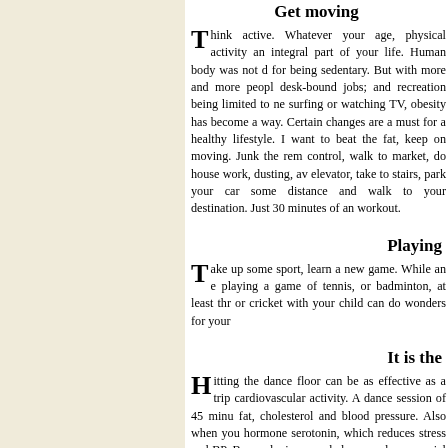Get moving
Think active. Whatever your age, physical activity an integral part of your life. Human body was not designed for being sedentary. But with more and more people in desk-bound jobs; and recreation being limited to net surfing or watching TV, obesity has become a way of life. Certain changes are a must for a healthy lifestyle. If you want to beat the fat, keep on moving. Junk the remote control, walk to market, do house work, dusting, avoid elevator, take to stairs, park your car some distance away and walk to your destination. Just 30 minutes of any workout.
Playing
Take up some sport, learn a new game. While an everyday playing a game of tennis, or badminton, at least three or cricket with your child can do wonders for your health.
It is the
Hitting the dance floor can be as effective as a trip cardiovascular activity. A dance session of 45 minutes fat, cholesterol and blood pressure. Also when you hormone serotonin, which reduces stress and BP. Build muscle, improve balance and your social life as well.